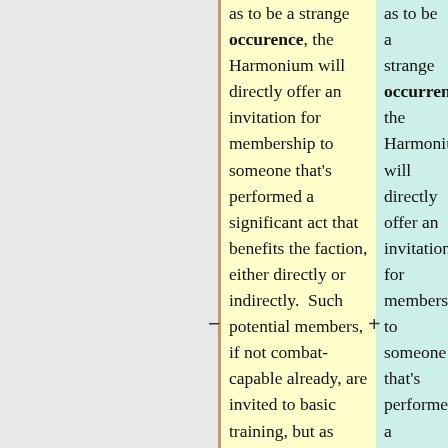as to be a strange occurence, the Harmonium will directly offer an invitation for membership to someone that's performed a significant act that benefits the faction, either directly or indirectly.  Such potential members, if not combat-capable already, are invited to basic training, but as most that recieve such an offer are adventuring sorts, knights, or other
as to be a strange occurrence, the Harmonium will directly offer an invitation for membership to someone that's performed a significant act that benefits the faction, either directly or indirectly.  Such potential members, if not combat-capable already, are invited to basic training, but as most that receive such an offer are adventuring sorts, knights, or other